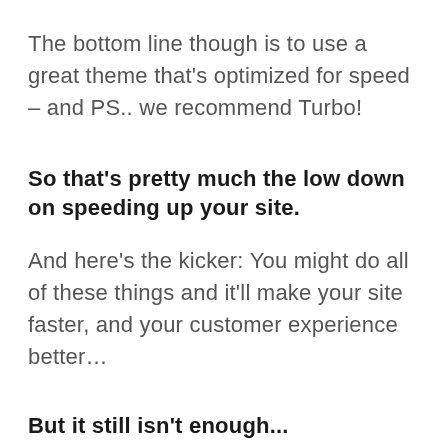The bottom line though is to use a great theme that's optimized for speed - and PS.. we recommend Turbo!
So that's pretty much the low down on speeding up your site.
And here's the kicker: You might do all of these things and it'll make your site faster, and your customer experience better…
But it still isn't enough...